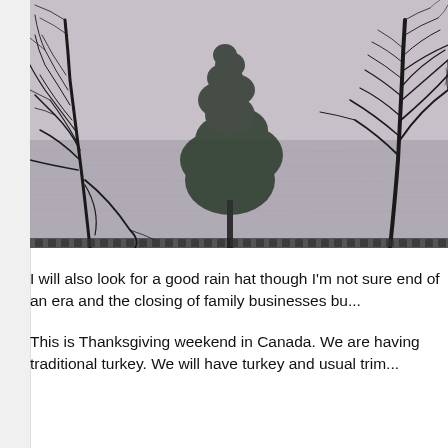[Figure (photo): Black and white photograph of bare and evergreen trees silhouetted against a calm water body with overcast sky, taken from a shoreline.]
I will also look for a good rain hat though I'm not sure end of an era and the closing of family businesses bu...
This is Thanksgiving weekend in Canada. We are having traditional turkey. We will have turkey and usual trim...